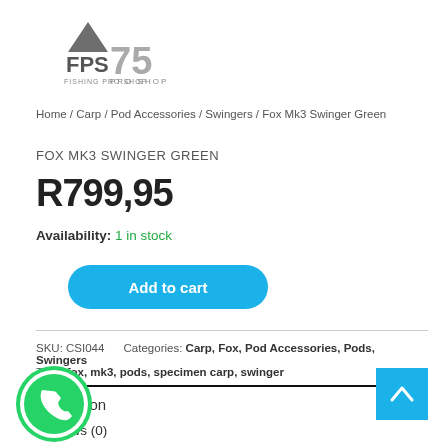[Figure (logo): FPS 75 Pro Shop logo with fishing brand icon]
Home / Carp / Pod Accessories / Swingers / Fox Mk3 Swinger Green
FOX MK3 SWINGER GREEN
R799,95
Availability: 1 in stock
Add to cart
SKU: CSI044    Categories: Carp, Fox, Pod Accessories, Pods, Swingers
Tags: fox, mk3, pods, specimen carp, swinger
Description
Reviews (0)